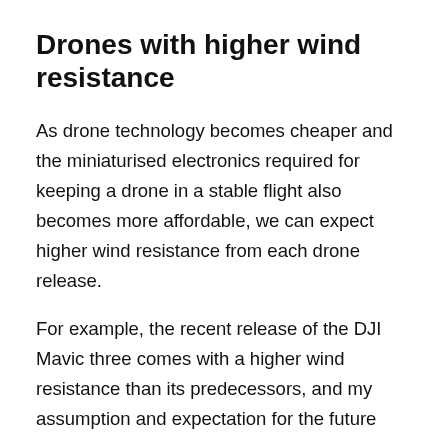Drones with higher wind resistance
As drone technology becomes cheaper and the miniaturised electronics required for keeping a drone in a stable flight also becomes more affordable, we can expect higher wind resistance from each drone release.
For example, the recent release of the DJI Mavic three comes with a higher wind resistance than its predecessors, and my assumption and expectation for the future